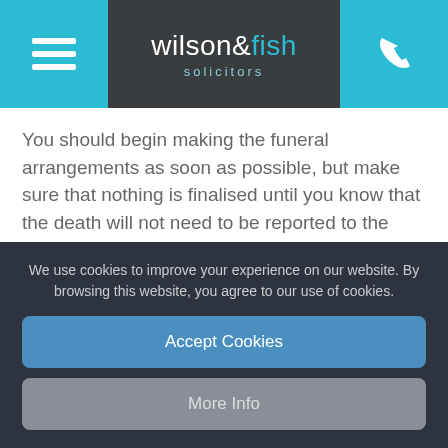wilson&fish solicitors
You should begin making the funeral arrangements as soon as possible, but make sure that nothing is finalised until you know that the death will not need to be reported to the Procurator Fiscal.
Your first step should be to check whether your loved one had left any instructions regarding their funeral, or whether they had any sort of funeral plan in place.
We use cookies to improve your experience on our website. By browsing this website, you agree to our use of cookies.
Accept Cookies
More Info